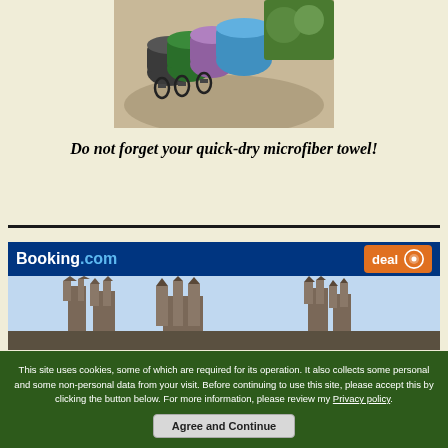[Figure (photo): Rolled colorful quick-dry microfiber towels with carabiner clips, stacked on a rock outdoors]
Do not forget your quick-dry microfiber towel!
[Figure (screenshot): Booking.com advertisement banner showing a cathedral city view with a 'deal' badge]
This site uses cookies, some of which are required for its operation. It also collects some personal and some non-personal data from your visit. Before continuing to use this site, please accept this by clicking the button below. For more information, please review my Privacy policy.